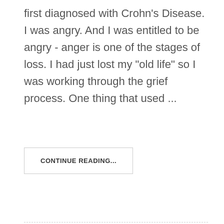first diagnosed with Crohn’s Disease. I was angry. And I was entitled to be angry - anger is one of the stages of loss. I had just lost my “old life” so I was working through the grief process. One thing that used …
CONTINUE READING...
Share on: f ψ g+ digg ʃ in ƥ šu t vk ✉
19 Nov 2017